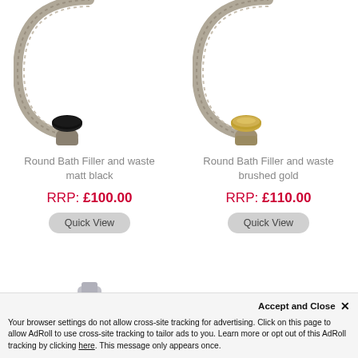[Figure (photo): Round Bath Filler and waste matt black product photo - braided hose with black plug/cap]
Round Bath Filler and waste matt black
RRP: £100.00
Quick View
[Figure (photo): Round Bath Filler and waste brushed gold product photo - braided hose with gold plug/cap]
Round Bath Filler and waste brushed gold
RRP: £110.00
Quick View
[Figure (photo): Partial product image at bottom left]
[Figure (photo): Partial product image at bottom right]
Accept and Close ✕
Your browser settings do not allow cross-site tracking for advertising. Click on this page to allow AdRoll to use cross-site tracking to tailor ads to you. Learn more or opt out of this AdRoll tracking by clicking here. This message only appears once.